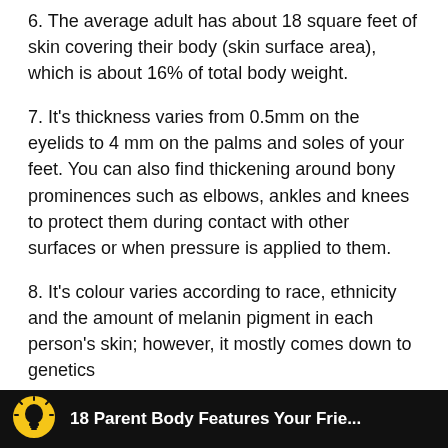6. The average adult has about 18 square feet of skin covering their body (skin surface area), which is about 16% of total body weight.
7. It's thickness varies from 0.5mm on the eyelids to 4 mm on the palms and soles of your feet. You can also find thickening around bony prominences such as elbows, ankles and knees to protect them during contact with other surfaces or when pressure is applied to them.
8. It's colour varies according to race, ethnicity and the amount of melanin pigment in each person's skin; however, it mostly comes down to genetics
[Figure (other): Black footer bar with a yellow lightbulb icon on the left and partial white text reading '18 Parent Body Features Your Frie...' on the right]